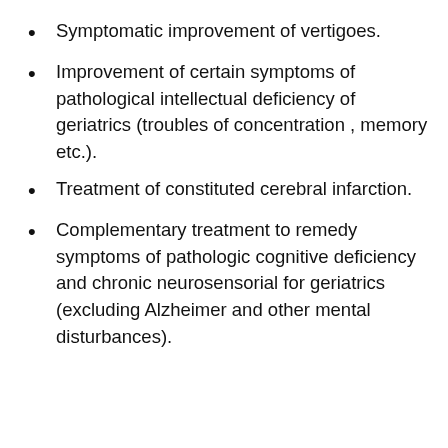Symptomatic improvement of vertigoes.
Improvement of certain symptoms of pathological intellectual deficiency of geriatrics (troubles of concentration , memory etc.).
Treatment of constituted cerebral infarction.
Complementary treatment to remedy symptoms of pathologic cognitive deficiency and chronic neurosensorial for geriatrics (excluding Alzheimer and other mental disturbances).